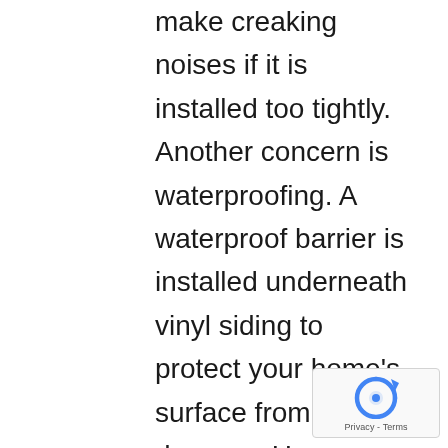make creaking noises if it is installed too tightly. Another concern is waterproofing. A waterproof barrier is installed underneath vinyl siding to protect your home's surface from water damage. However, when not installed, you could be looking at water damage, mildew, mold, and even wood rot. This can also be caused by cracks in the siding itself. Cracks may allow moisture to attack your building's exterior and should be repaired as quickly
[Figure (logo): Google reCAPTCHA badge with rotating arrows logo and Privacy - Terms text]